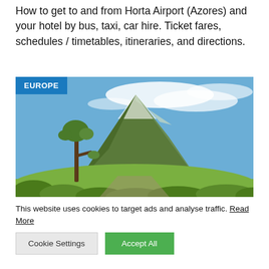How to get to and from Horta Airport (Azores) and your hotel by bus, taxi, car hire. Ticket fares, schedules / timetables, itineraries, and directions.
[Figure (photo): Landscape photo of Pico Mountain in the Azores with a lone tree in the foreground, green hills, and a blue sky with clouds. A blue 'EUROPE' badge appears in the top-left corner of the image.]
This website uses cookies to target ads and analyse traffic. Read More
Cookie Settings | Accept All